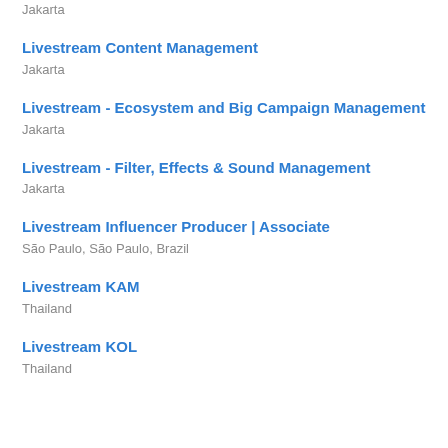Jakarta
Livestream Content Management
Jakarta
Livestream - Ecosystem and Big Campaign Management
Jakarta
Livestream - Filter, Effects & Sound Management
Jakarta
Livestream Influencer Producer | Associate
São Paulo, São Paulo, Brazil
Livestream KAM
Thailand
Livestream KOL
Thailand